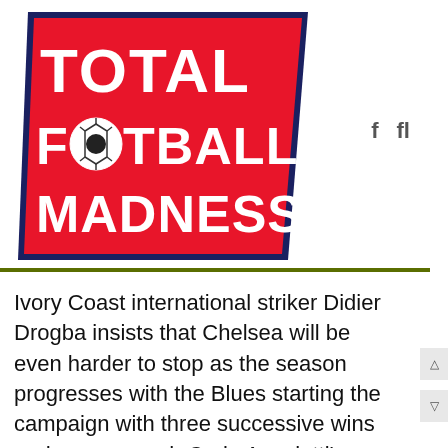[Figure (logo): Total Football Madness logo — red trapezoid shape with dark navy blue border, bold white text reading TOTAL FOOTBALL MADNESS with a soccer ball replacing the O in FOOTBALL]
f  fl
Ivory Coast international striker Didier Drogba insists that Chelsea will be even harder to stop as the season progresses with the Blues starting the campaign with three successive wins under new coach Carlo Ancelotti's diamond and 'Christmas tree' formations but Drogba